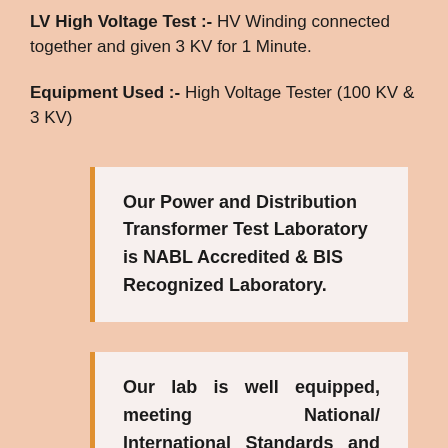LV High Voltage Test :- HV Winding connected together and given 3 KV for 1 Minute.
Equipment Used :- High Voltage Tester (100 KV & 3 KV)
Our Power and Distribution Transformer Test Laboratory is NABL Accredited & BIS Recognized Laboratory.
Our lab is well equipped, meeting National/ International Standards and accredited by NABL (National